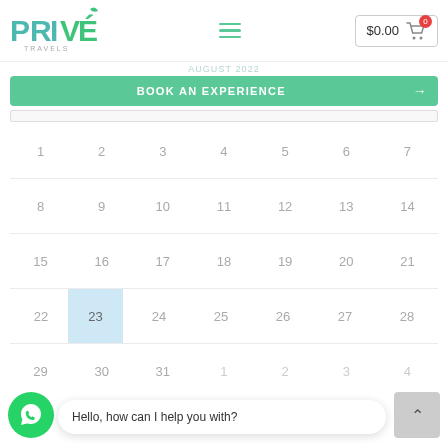[Figure (logo): PRIVÉ TRAVELS logo in teal/green colors]
$0.00
BOOK AN EXPERIENCE →
AUGUST 2022
| 1 | 2 | 3 | 4 | 5 | 6 | 7 |
| 8 | 9 | 10 | 11 | 12 | 13 | 14 |
| 15 | 16 | 17 | 18 | 19 | 20 | 21 |
| 22 | 23 | 24 | 25 | 26 | 27 | 28 |
| 29 | 30 | 31 | 1 | 2 | 3 | 4 |
Hello, how can I help you with?